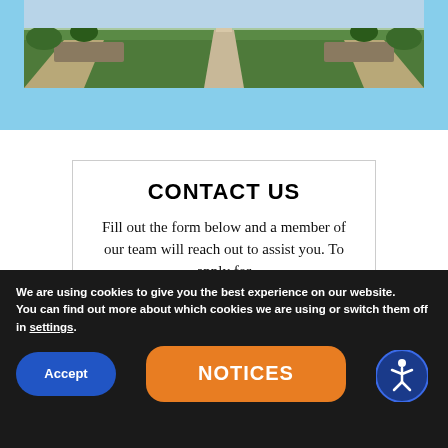[Figure (photo): Aerial or ground-level view of a park/garden with green grass, pathways, and stone/brick structures under a light blue sky banner]
CONTACT US
Fill out the form below and a member of our team will reach out to assist you. To apply for
We are using cookies to give you the best experience on our website.
You can find out more about which cookies we are using or switch them off in settings.
Accept
NOTICES